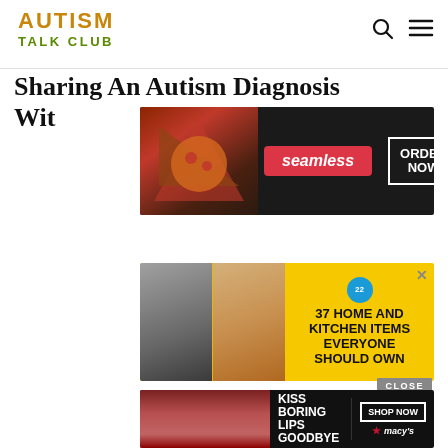AUTISM TALK CLUB
Sharing An Autism Diagnosis With...
[Figure (infographic): Seamless food delivery ad showing pizza and ordering prompt]
[Figure (infographic): 37 Home and Kitchen Items Everyone Should Own ad with yellow background]
[Figure (infographic): Macy's lipstick ad - Kiss Boring Lips Goodbye with Shop Now button]